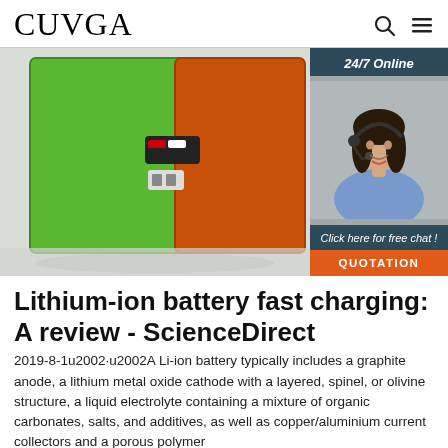CUVGA
[Figure (photo): Photo of lithium-ion battery packs in green and orange colors with connecting wires, on a white background. Overlaid advertisement panel on right showing '24/7 Online', a woman with headset, 'Click here for free chat!' and 'QUOTATION' button.]
Lithium-ion battery fast charging: A review - ScienceDirect
2019-8-1u2002·u2002A Li-ion battery typically includes a graphite anode, a lithium metal oxide cathode with a layered, spinel, or olivine structure, a liquid electrolyte containing a mixture of organic carbonates, salts, and additives, as well as copper/aluminium current collectors and a porous polymer